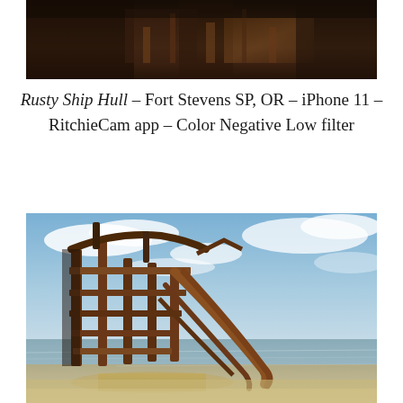[Figure (photo): Close-up of a rusty ship hull in dark tones — partial view of rusted metal structure against a dark rocky background]
Rusty Ship Hull – Fort Stevens SP, OR – iPhone 11 – RitchieCam app – Color Negative Low filter
[Figure (photo): Photograph of a rusted shipwreck skeleton on a beach with blue sky and ocean in the background — Peter Iredale shipwreck at Fort Stevens State Park, Oregon]